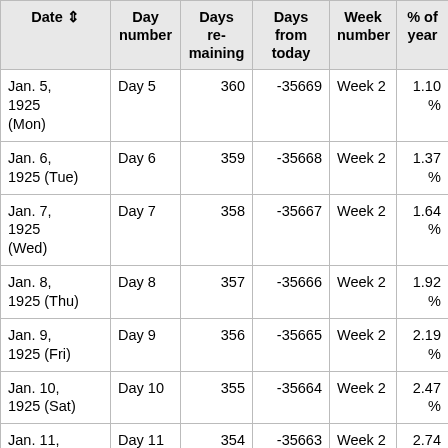| Date ⇕ | Day number | Days remaining | Days from today | Week number | % of year |
| --- | --- | --- | --- | --- | --- |
| Jan. 5, 1925 (Mon) | Day 5 | 360 | -35669 | Week 2 | 1.10 % |
| Jan. 6, 1925 (Tue) | Day 6 | 359 | -35668 | Week 2 | 1.37 % |
| Jan. 7, 1925 (Wed) | Day 7 | 358 | -35667 | Week 2 | 1.64 % |
| Jan. 8, 1925 (Thu) | Day 8 | 357 | -35666 | Week 2 | 1.92 % |
| Jan. 9, 1925 (Fri) | Day 9 | 356 | -35665 | Week 2 | 2.19 % |
| Jan. 10, 1925 (Sat) | Day 10 | 355 | -35664 | Week 2 | 2.47 % |
| Jan. 11, | Day 11 | 354 | -35663 | Week 2 | 2.74 % |